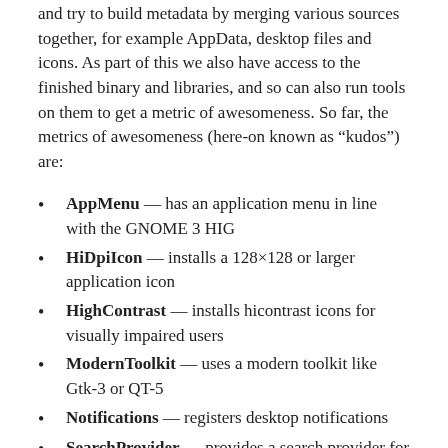and try to build metadata by merging various sources together, for example AppData, desktop files and icons. As part of this we also have access to the finished binary and libraries, and so can also run tools on them to get a metric of awesomeness. So far, the metrics of awesomeness (here-on known as “kudos”) are:
AppMenu — has an application menu in line with the GNOME 3 HIG
HiDpiIcon — installs a 128×128 or larger application icon
HighContrast — installs hicontrast icons for visually impaired users
ModernToolkit — uses a modern toolkit like Gtk-3 or QT-5
Notifications — registers desktop notifications
SearchProvider — provides a search provider for GNOME Shell or KDE Plasma